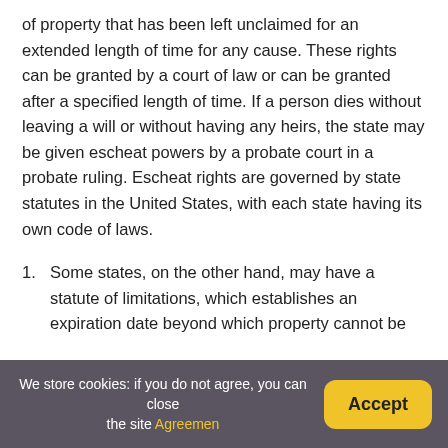of property that has been left unclaimed for an extended length of time for any cause. These rights can be granted by a court of law or can be granted after a specified length of time. If a person dies without leaving a will or without having any heirs, the state may be given escheat powers by a probate court in a probate ruling. Escheat rights are governed by state statutes in the United States, with each state having its own code of laws.
1. Some states, on the other hand, may have a statute of limitations, which establishes an expiration date beyond which property cannot be
We store cookies: if you do not agree, you can close the site Agreemen  Accept